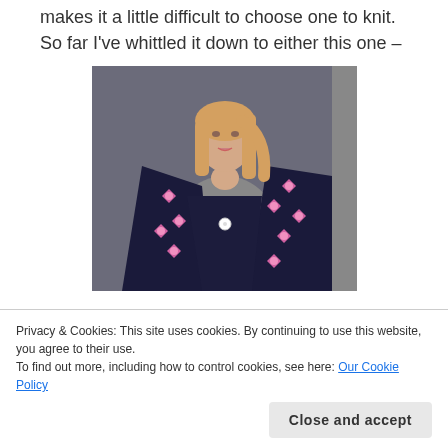makes it a little difficult to choose one to knit. So far I've whittled it down to either this one –
[Figure (photo): A woman wearing a dark navy knitted shawl/wrap with pink floral motifs, standing against a grey background. She has blonde hair and is wearing a grey top underneath.]
Privacy & Cookies: This site uses cookies. By continuing to use this website, you agree to their use.
To find out more, including how to control cookies, see here: Our Cookie Policy
Close and accept